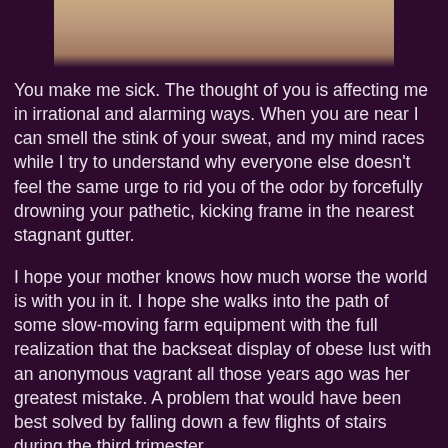[Figure (photo): Bottom portion of a person's face/chin, photo cropped at top of page]
You make me sick. The thought of you is affecting me in irrational and alarming ways. When you are near I can smell the stink of your sweat, and my mind races while I try to understand why everyone else doesn't feel the same urge to rid you of the odor by forcefully drowning your pathetic, kicking frame in the nearest stagnant gutter.
I hope your mother knows how much worse the world is with you in it. I hope she walks into the path of some slow-moving farm equipment with the full realization that the backseat display of obese lust with an anonymous vagrant all those years ago was her greatest mistake. A problem that would have been best solved by falling down a few flights of stairs during the third trimester.
Sometimes I daydream about watching you die. But not in any grand, dramatic, or cruel ways. Just embarrassing and pathetic ones. I think about your family finding your corpse hanging in a closet after a cut-corners auto-erotic session